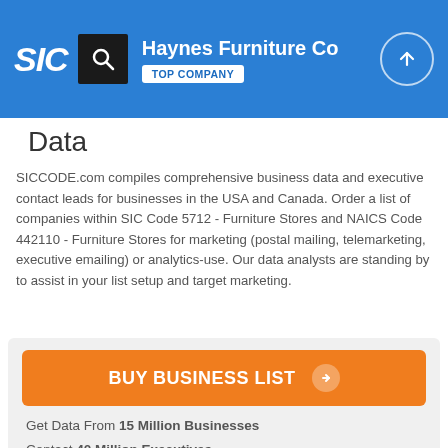Haynes Furniture Co — TOP COMPANY
Data
SICCODE.com compiles comprehensive business data and executive contact leads for businesses in the USA and Canada. Order a list of companies within SIC Code 5712 - Furniture Stores and NAICS Code 442110 - Furniture Stores for marketing (postal mailing, telemarketing, executive emailing) or analytics-use. Our data analysts are standing by to assist in your list setup and target marketing.
BUY BUSINESS LIST
Get Data From 15 Million Businesses
Contact 40 Million Executives